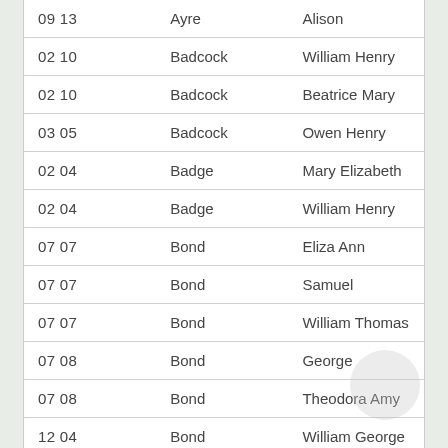| 09 13 | Ayre | Alison |
| 02 10 | Badcock | William Henry |
| 02 10 | Badcock | Beatrice Mary |
| 03 05 | Badcock | Owen Henry |
| 02 04 | Badge | Mary Elizabeth |
| 02 04 | Badge | William Henry |
| 07 07 | Bond | Eliza Ann |
| 07 07 | Bond | Samuel |
| 07 07 | Bond | William Thomas |
| 07 08 | Bond | George |
| 07 08 | Bond | Theodora Amy |
| 12 04 | Bond | William George |
| 03 02 | Bray | Arthur |